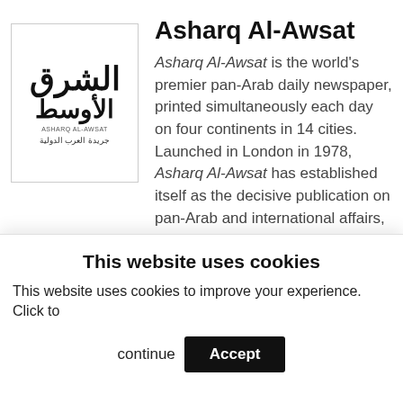[Figure (logo): Asharq Al-Awsat newspaper logo with Arabic text and subtitle 'جريدة العرب الدولية']
Asharq Al-Awsat
Asharq Al-Awsat is the world's premier pan-Arab daily newspaper, printed simultaneously each day on four continents in 14 cities. Launched in London in 1978, Asharq Al-Awsat has established itself as the decisive publication on pan-Arab and international affairs, offering its readers in-depth analysis and exclusive editorials, as well
This website uses cookies
This website uses cookies to improve your experience. Click to continue  Accept